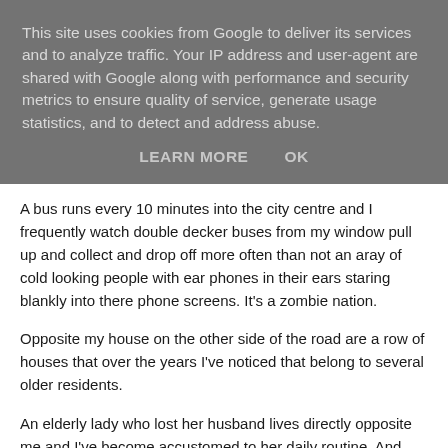This site uses cookies from Google to deliver its services and to analyze traffic. Your IP address and user-agent are shared with Google along with performance and security metrics to ensure quality of service, generate usage statistics, and to detect and address abuse.
LEARN MORE   OK
A bus runs every 10 minutes into the city centre and I frequently watch double decker buses from my window pull up and collect and drop off more often than not an aray of cold looking people with ear phones in their ears staring blankly into there phone screens. It's a zombie nation.
Opposite my house on the other side of the road are a row of houses that over the years I've noticed that belong to several older residents.
An elderly lady who lost her husband lives directly opposite me and I've become accustomed to her daily routine. And what time she opens and closes her curtains. What time she